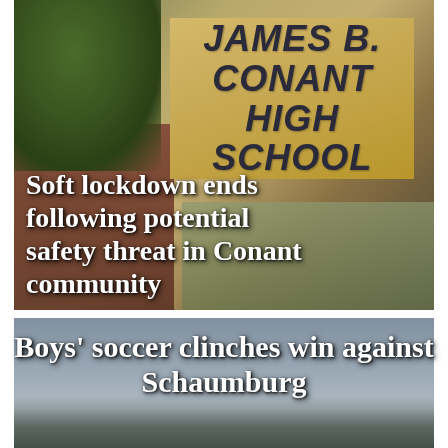[Figure (photo): Photo of James B. Conant High School building exterior showing the school sign on a beige/tan facade with brick and a tree visible. Sign reads JAMES B. CONANT HIGH SCHOOL.]
Soft lockdown ends following potential safety threat in Conant community
[Figure (photo): Photo taken outdoors with overcast sky, likely a soccer field or athletic setting with figures visible.]
Boys' soccer clinches win against Schaumburg